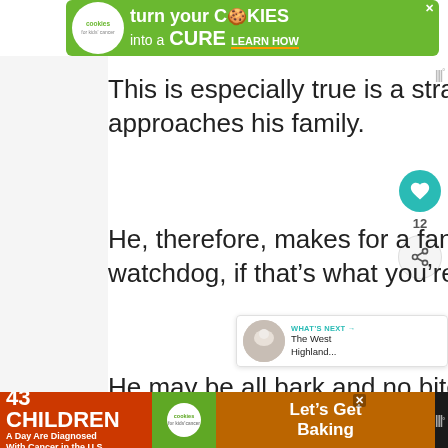[Figure (other): Green advertisement banner: 'cookies for kids cancer — turn your COOKIES into a CURE LEARN HOW']
This is especially true is a stranger approaches his family.
He, therefore, makes for a fantastic watchdog, if that's what you're looking for
He may be all bark and no bite, but it's
[Figure (other): Bottom advertisement: '43 CHILDREN A Day Are Diagnosed With Cancer in the U.S.' — cookies for kids' cancer — Let's Get Baking]